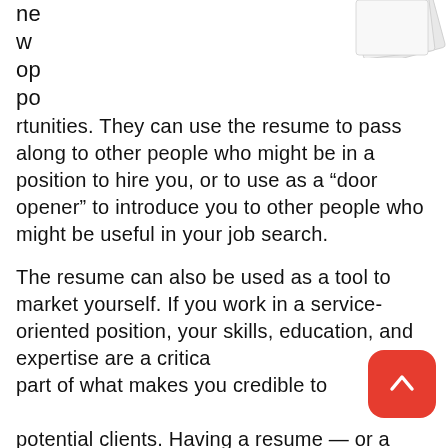[Figure (illustration): Partial image of papers or documents at top right corner]
new opportunities. They can use the resume to pass along to other people who might be in a position to hire you, or to use as a “door opener” to introduce you to other people who might be useful in your job search.

The resume can also be used as a tool to market yourself. If you work in a service-oriented position, your skills, education, and expertise are a critical part of what makes you credible to potential clients. Having a resume — or a bio based on your resume — that
[Figure (illustration): Red rounded-square back-to-top button with upward arrow]